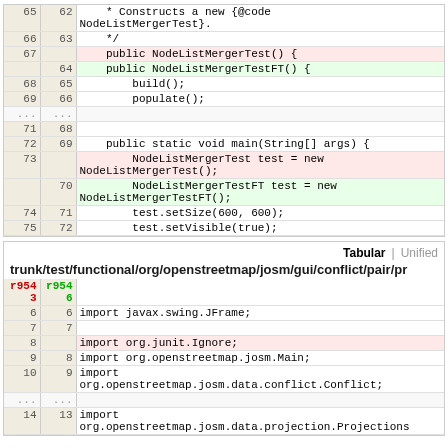[Figure (screenshot): Code diff view showing two blocks. Top block shows diff of NodeListMergerTest constructor rename. Bottom block shows another file diff with import changes including removal of 'import org.junit.Ignore;'.]